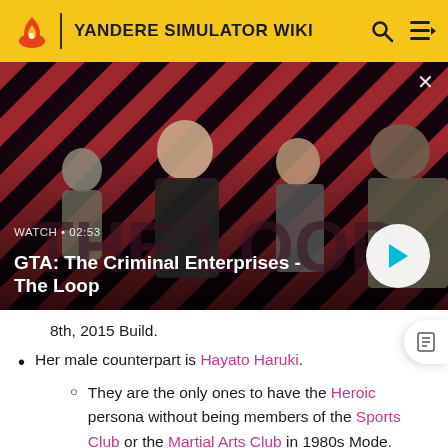YANDERE SIMULATOR WIKI
[Figure (screenshot): Video thumbnail showing characters from GTA: The Criminal Enterprises on a red and black striped background. Shows four characters including a woman in black, a man with glasses, and an armored soldier. Overlay shows 'WATCH • 02:53' and title 'GTA: The Criminal Enterprises - The Loop' with a play button.]
8th, 2015 Build.
Her male counterpart is Hayato Haruki.
They are the only ones to have the Heroic persona without being members of the Sports Club or the Martial Arts Club in 1980s Mode.